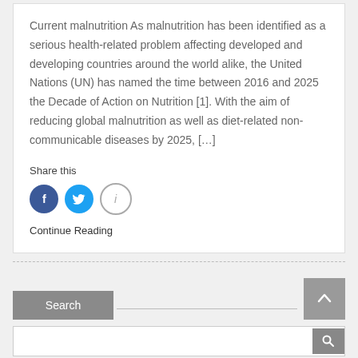Current malnutrition As malnutrition has been identified as a serious health-related problem affecting developed and developing countries around the world alike, the United Nations (UN) has named the time between 2016 and 2025 the Decade of Action on Nutrition [1]. With the aim of reducing global malnutrition as well as diet-related non-communicable diseases by 2025, […]
Share this
[Figure (infographic): Social share icons: Facebook (blue circle with f), Twitter (blue circle with bird), Info (grey outlined circle with i)]
Continue Reading
[Figure (other): Search button with grey background and search input line, plus scroll-to-top button with up arrow]
[Figure (other): Bottom search bar with input field and search icon button]